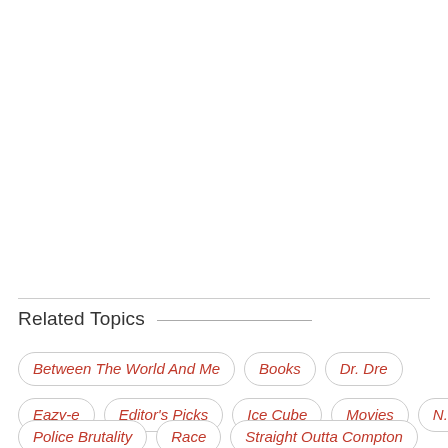Related Topics
Between The World And Me
Books
Dr. Dre
Eazy-e
Editor's Picks
Ice Cube
Movies
N.w.a
Police Brutality
Race
Straight Outta Compton